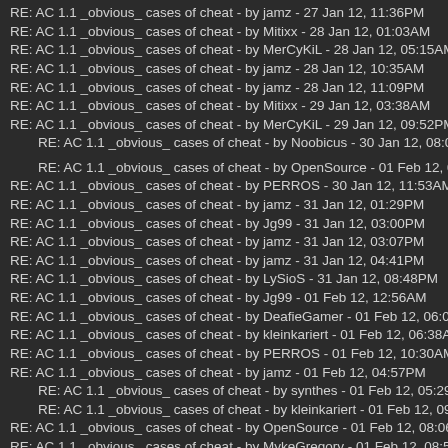RE: AC 1.1 _obvious_ cases of cheat - by jamz - 27 Jan 12, 11:36PM
RE: AC 1.1 _obvious_ cases of cheat - by Mitixx - 28 Jan 12, 01:03AM
RE: AC 1.1 _obvious_ cases of cheat - by MerCyKiL - 28 Jan 12, 05:15AM
RE: AC 1.1 _obvious_ cases of cheat - by jamz - 28 Jan 12, 10:35AM
RE: AC 1.1 _obvious_ cases of cheat - by jamz - 28 Jan 12, 11:09PM
RE: AC 1.1 _obvious_ cases of cheat - by Mitixx - 29 Jan 12, 03:38AM
RE: AC 1.1 _obvious_ cases of cheat - by MerCyKiL - 29 Jan 12, 09:52PM
RE: AC 1.1 _obvious_ cases of cheat - by Noobicus - 30 Jan 12, 08:00PM
RE: AC 1.1 _obvious_ cases of cheat - by OpenSource - 01 Feb 12, 03:06PM
RE: AC 1.1 _obvious_ cases of cheat - by PERROS - 30 Jan 12, 11:53AM
RE: AC 1.1 _obvious_ cases of cheat - by jamz - 31 Jan 12, 01:29PM
RE: AC 1.1 _obvious_ cases of cheat - by Jg99 - 31 Jan 12, 03:00PM
RE: AC 1.1 _obvious_ cases of cheat - by jamz - 31 Jan 12, 03:07PM
RE: AC 1.1 _obvious_ cases of cheat - by jamz - 31 Jan 12, 04:41PM
RE: AC 1.1 _obvious_ cases of cheat - by LySioS - 31 Jan 12, 08:48PM
RE: AC 1.1 _obvious_ cases of cheat - by Jg99 - 01 Feb 12, 12:56AM
RE: AC 1.1 _obvious_ cases of cheat - by DeafieGamer - 01 Feb 12, 06:01AM
RE: AC 1.1 _obvious_ cases of cheat - by kleinkariert - 01 Feb 12, 06:38AM
RE: AC 1.1 _obvious_ cases of cheat - by PERROS - 01 Feb 12, 10:30AM
RE: AC 1.1 _obvious_ cases of cheat - by jamz - 01 Feb 12, 04:57PM
RE: AC 1.1 _obvious_ cases of cheat - by synthes - 01 Feb 12, 05:29PM
RE: AC 1.1 _obvious_ cases of cheat - by kleinkariert - 01 Feb 12, 09:44PM
RE: AC 1.1 _obvious_ cases of cheat - by OpenSource - 01 Feb 12, 08:06PM
RE: AC 1.1 _obvious_ cases of cheat - by MykeGregory - 01 Feb 12, 08:51PM
RE: AC 1.1 _obvious_ cases of cheat - by MykeGregory - 01 Feb 12, 09:59PM